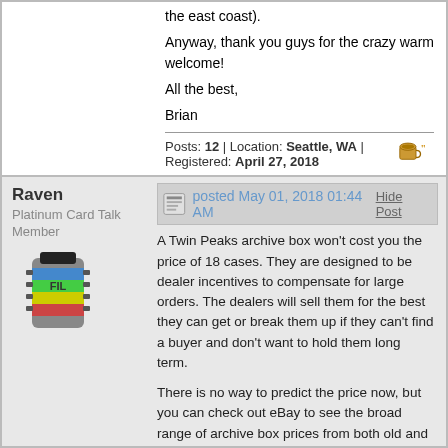the east coast).
Anyway, thank you guys for the crazy warm welcome!
All the best,
Brian
Posts: 12 | Location: Seattle, WA | Registered: April 27, 2018
Raven
Platinum Card Talk Member
posted May 01, 2018 01:44 AM
Hide Post
A Twin Peaks archive box won't cost you the price of 18 cases. They are designed to be dealer incentives to compensate for large orders. The dealers will sell them for the best they can get or break them up if they can't find a buyer and don't want to hold them long term.
There is no way to predict the price now, but you can check out eBay to see the broad range of archive box prices from both old and recent products already up. Some go for as little as $600, others as high as $3,500. It all depends on what's in them and how many exclusives may have been included.
For recent products, case incentive cards and exclusives have become common. Twin Peaks has 1 incentive autograph at 6 cases and 1 at 9 cases, along with the 2 in the archive box and the 4 printing plates. The the int of cane and b b ld it f the f ll